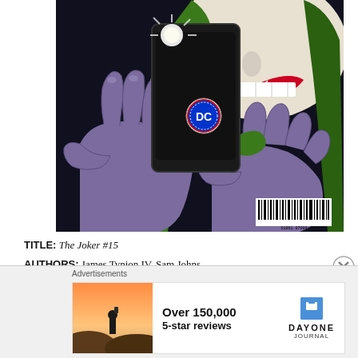[Figure (illustration): Comic book cover illustration of The Joker taking a selfie with a smartphone. The Joker's purple-gloved hands hold a black phone with a DC Comics logo sticker. The Joker's face with red lips and white makeup is visible in the background. A barcode is visible in the lower right corner of the cover.]
TITLE: The Joker #15
AUTHORS: James Tynion IV, Sam Johns
ARTISTS: Giuseppe Camuncoli, Sweeny Boo, Cam
Advertisements
[Figure (photo): Advertisement photo showing a person taking a photo at sunset]
Over 150,000 5-star reviews
DAY ONE JOURNAL